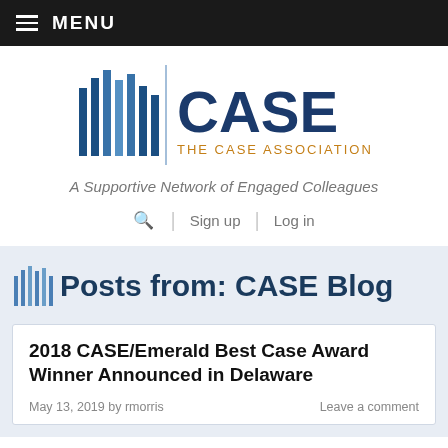MENU
[Figure (logo): CASE - The Case Association logo with blue vertical bar marks and text]
A Supportive Network of Engaged Colleagues
🔍  Sign up  |  Log in
Posts from: CASE Blog
2018 CASE/Emerald Best Case Award Winner Announced in Delaware
May 13, 2019 by rmorris   Leave a comment